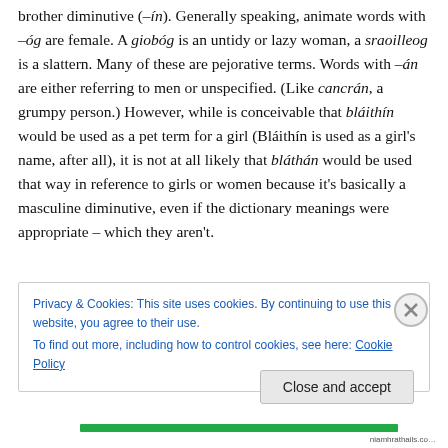brother diminutive (–ín). Generally speaking, animate words with –óg are female. A giobóg is an untidy or lazy woman, a sraoilleog is a slattern. Many of these are pejorative terms. Words with –án are either referring to men or unspecified. (Like cancrán, a grumpy person.) However, while is conceivable that bláithín would be used as a pet term for a girl (Bláithín is used as a girl's name, after all), it is not at all likely that bláthán would be used that way in reference to girls or women because it's basically a masculine diminutive, even if the dictionary meanings were appropriate – which they aren't.
Privacy & Cookies: This site uses cookies. By continuing to use this website, you agree to their use. To find out more, including how to control cookies, see here: Cookie Policy
Close and accept